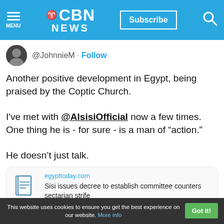CBN NEWS | Subscribe | MENU
@JohnnieM · Follow
Another positive development in Egypt, being praised by the Coptic Church.

I've met with @AlsisiOfficial now a few times. One thing he is - for sure - is a man of “action.”

He doesn’t just talk.
[Figure (screenshot): Link card preview for egypttoday.com article: Sisi issues decree to establish committee counters sectarian strife]
6:03 AM · Dec 31, 2018
This website uses cookies to ensure you get the best experience on our website. More info